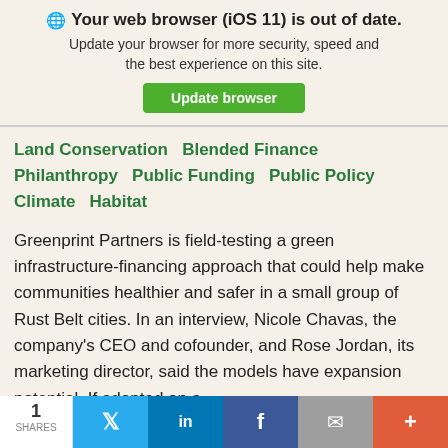🌐 Your web browser (iOS 11) is out of date. Update your browser for more security, speed and the best experience on this site. Update browser
Land Conservation  Blended Finance  Philanthropy  Public Funding  Public Policy  Climate  Habitat
Greenprint Partners is field-testing a green infrastructure-financing approach that could help make communities healthier and safer in a small group of Rust Belt cities. In an interview, Nicole Chavas, the company's CEO and cofounder, and Rose Jordan, its marketing director, said the models have expansion potential. If adopted on a...
1 SHARES  Twitter  LinkedIn  Facebook  Email  More